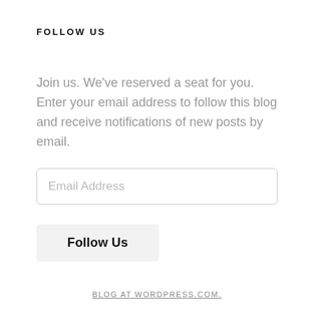FOLLOW US
Join us. We've reserved a seat for you. Enter your email address to follow this blog and receive notifications of new posts by email.
Email Address
Follow Us
BLOG AT WORDPRESS.COM.